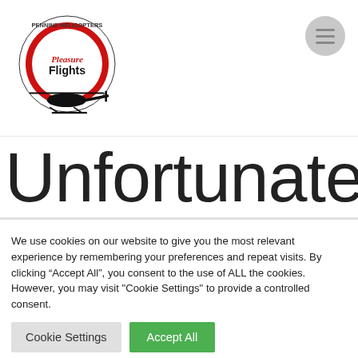[Figure (logo): Pennine Helicopters Pleasure Flights logo with helicopter silhouette]
Unfortunately due to the COVID backlog, we are
We use cookies on our website to give you the most relevant experience by remembering your preferences and repeat visits. By clicking “Accept All”, you consent to the use of ALL the cookies. However, you may visit "Cookie Settings" to provide a controlled consent.